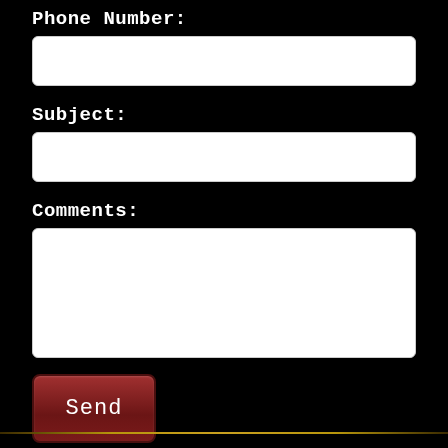Phone Number:
[Figure (other): Empty text input field for Phone Number]
Subject:
[Figure (other): Empty text input field for Subject]
Comments:
[Figure (other): Empty textarea input field for Comments]
Send
[Figure (other): Horizontal decorative gold line at bottom of page]